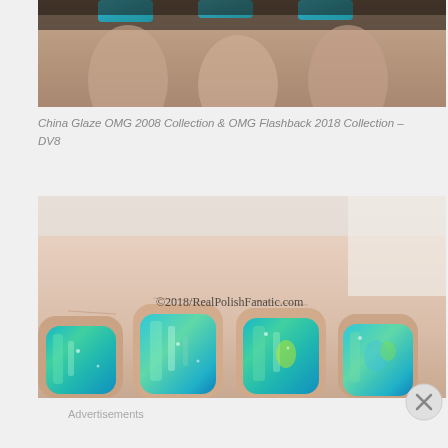[Figure (photo): Close-up photo of fingers with teal/blue holographic glitter nail polish from above, partial view]
China Glaze OMG 2008 Collection & OMG Flashback 2018 Collection – DV8
[Figure (photo): Close-up photo of four fingers showing teal/blue holographic shimmer nail polish with watermark ©2018/RealPolishFanatic.com]
Advertisements